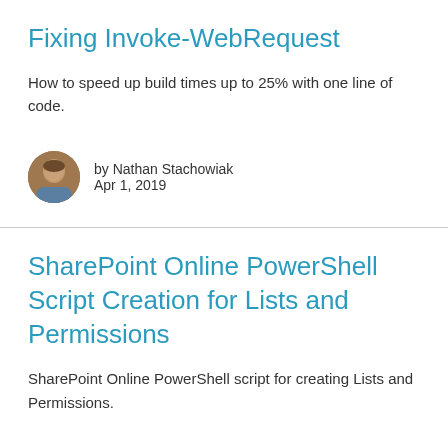Fixing Invoke-WebRequest
How to speed up build times up to 25% with one line of code.
by Nathan Stachowiak
Apr 1, 2019
SharePoint Online PowerShell Script Creation for Lists and Permissions
SharePoint Online PowerShell script for creating Lists and Permissions.